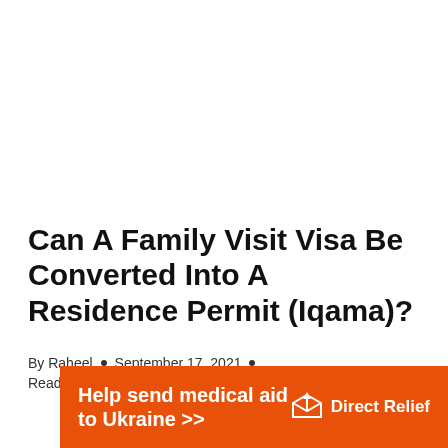Can A Family Visit Visa Be Converted Into A Residence Permit (Iqama)?
By Raheel • September 17, 2021 • Reading Time: 3 minutes
[Figure (infographic): Orange advertisement banner for Direct Relief: 'Help send medical aid to Ukraine >>' with Direct Relief logo (white envelope/box icon) on the right]